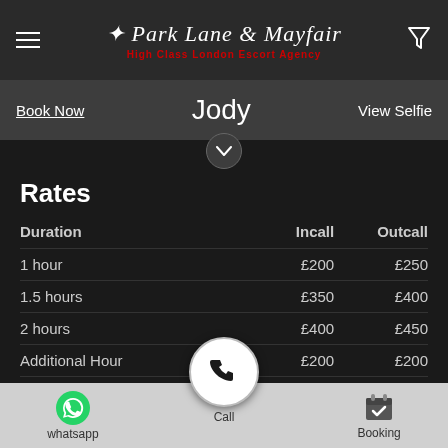Park Lane & Mayfair — High Class London Escort Agency
Book Now    Jody    View Selfie
Rates
| Duration | Incall | Outcall |
| --- | --- | --- |
| 1 hour | £200 | £250 |
| 1.5 hours | £350 | £400 |
| 2 hours | £400 | £450 |
| Additional Hour | £200 | £200 |
| Overnight (8hrs) | £1200 | £1200 |
| 12hrs |  | £1800 |
whatsapp   Call   Booking